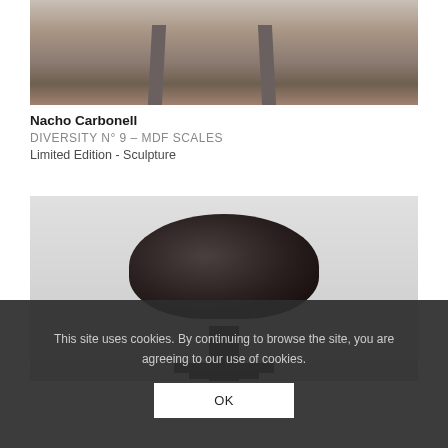[Figure (photo): Partial view of furniture legs and wood floor background, upper portion of a sculpture or chair piece]
Nacho Carbonell
DIVERSITY N° 9 – MDF SCALES
Limited Edition - Sculpture
[Figure (photo): A dark textured sponge-like sculptural dome on a thin stem with a cross base, against a light grey background]
This site uses cookies. By continuing to browse the site, you are agreeing to our use of cookies.
OK